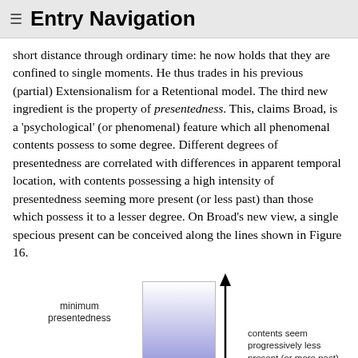≡ Entry Navigation
short distance through ordinary time: he now holds that they are confined to single moments. He thus trades in his previous (partial) Extensionalism for a Retentional model. The third new ingredient is the property of presentedness. This, claims Broad, is a 'psychological' (or phenomenal) feature which all phenomenal contents possess to some degree. Different degrees of presentedness are correlated with differences in apparent temporal location, with contents possessing a high intensity of presentedness seeming more present (or less past) than those which possess it to a lesser degree. On Broad's new view, a single specious present can be conceived along the lines shown in Figure 16.
[Figure (infographic): A diagram showing a gradient rectangle (white at top fading to blue/purple at bottom) with a vertical arrow pointing upward on the right side. Labeled 'minimum presentedness' on the left and 'contents seem progressively less present (or more past)' on the right.]